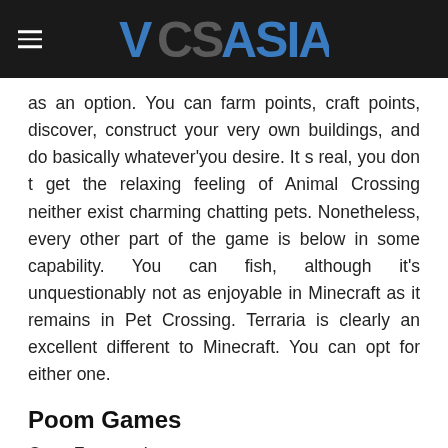[Figure (logo): VCSAsia website header with dark background, hamburger menu icon on the left, and the VCSAsia logo in the center in bold blue and gray lettering]
as an option. You can farm points, craft points, discover, construct your very own buildings, and do basically whatever'you desire. It s real, you don t get the relaxing feeling of Animal Crossing neither exist charming chatting pets. Nonetheless, every other part of the game is below in some capability. You can fish, although it's unquestionably not as enjoyable in Minecraft as it remains in Pet Crossing. Terraria is clearly an excellent different to Minecraft. You can opt for either one.
Poom Games
Cost: Free to play
Poom Gamings is a developer on Google Play with a number of games like Pet Crossing. The initial is Feline